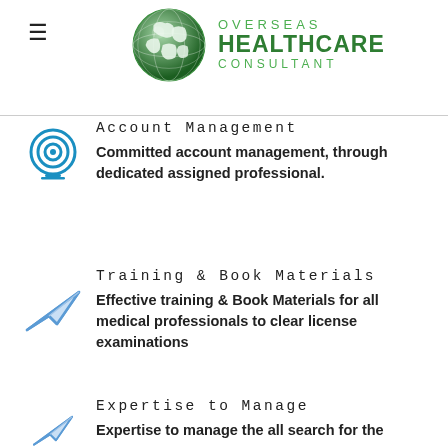[Figure (logo): Overseas Healthcare Consultant logo with green globe and text]
Account Management
Committed account management, through dedicated assigned professional.
Training & Book Materials
Effective training & Book Materials for all medical professionals to clear license examinations
Expertise to Manage
Expertise to manage the all search for the